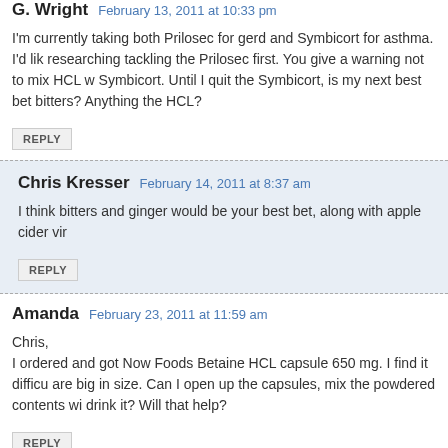G. Wright  February 13, 2011 at 10:33 pm
I'm currently taking both Prilosec for gerd and Symbicort for asthma. I'd like researching tackling the Prilosec first. You give a warning not to mix HCL w Symbicort. Until I quit the Symbicort, is my next best bet bitters? Anything the HCL?
REPLY
Chris Kresser  February 14, 2011 at 8:37 am
I think bitters and ginger would be your best bet, along with apple cider vir
REPLY
Amanda  February 23, 2011 at 11:59 am
Chris,
I ordered and got Now Foods Betaine HCL capsule 650 mg. I find it difficu are big in size. Can I open up the capsules, mix the powdered contents wi drink it? Will that help?
REPLY